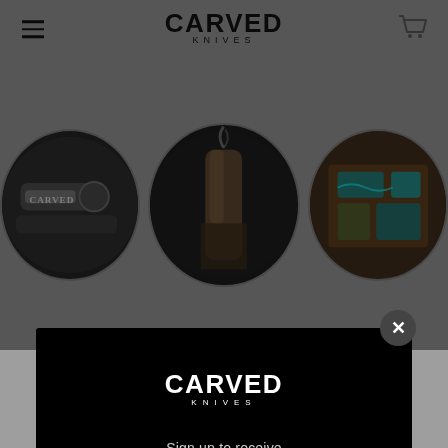[Figure (screenshot): Background of Carved Knives website showing navigation bar with hamburger menu, CARVED KNIVES logo, cart icon, and three circular product images below]
[Figure (screenshot): Popup modal on black background featuring CARVED KNIVES logo, 'Sign up to receive' text, '10% OFF' large heading, and an Email input field at bottom]
Sign up to receive
10% OFF
Email